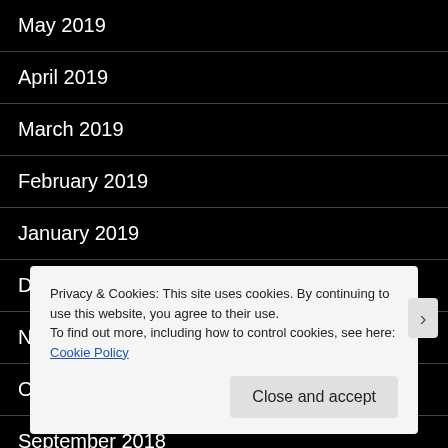May 2019
April 2019
March 2019
February 2019
January 2019
December 2018
November 2018
October 2018
September 2018
Privacy & Cookies: This site uses cookies. By continuing to use this website, you agree to their use.
To find out more, including how to control cookies, see here: Cookie Policy
Close and accept